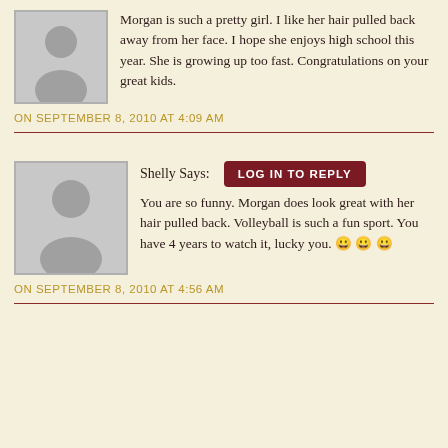[Figure (illustration): Placeholder avatar silhouette (person icon) with gray background, first comment]
Morgan is such a pretty girl. I like her hair pulled back away from her face. I hope she enjoys high school this year. She is growing up too fast. Congratulations on your great kids.
ON SEPTEMBER 8, 2010 AT 4:09 AM
[Figure (illustration): Placeholder avatar silhouette (person icon) with gray background, Shelly's comment]
Shelly Says:
LOG IN TO REPLY
You are so funny. Morgan does look great with her hair pulled back. Volleyball is such a fun sport. You have 4 years to watch it, lucky you. 😀 😀 😀
ON SEPTEMBER 8, 2010 AT 4:56 AM